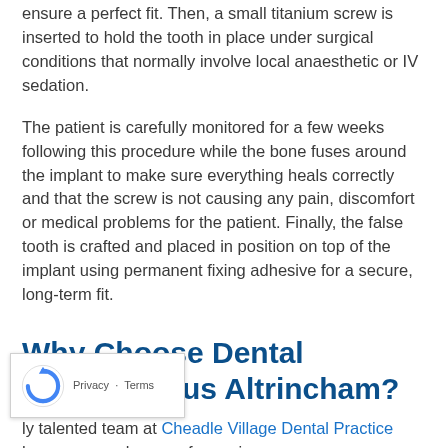ensure a perfect fit. Then, a small titanium screw is inserted to hold the tooth in place under surgical conditions that normally involve local anaesthetic or IV sedation.
The patient is carefully monitored for a few weeks following this procedure while the bone fuses around the implant to make sure everything heals correctly and that the screw is not causing any pain, discomfort or medical problems for the patient. Finally, the false tooth is crafted and placed in position on top of the implant using permanent fixing adhesive for a secure, long-term fit.
Why Choose Dental Implants Plus Altrincham?
...ly talented team at Cheadle Village Dental Practice have amassed years of experience as a